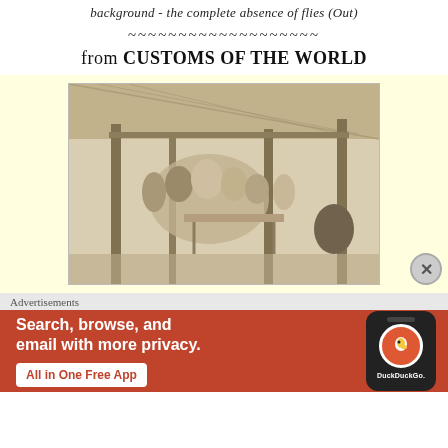background - the complete absence of flies (Out)
~~~~~~~~~~~~~~~~~~~
from CUSTOMS OF THE WORLD
[Figure (photo): Historical black and white photograph showing a group of people gathered under a thatched canopy structure supported by wooden poles, appearing to be at a market or gathering scene]
Advertisements
[Figure (other): DuckDuckGo advertisement banner with orange background showing 'Search, browse, and email with more privacy. All in One Free App' with a phone image showing the DuckDuckGo logo]